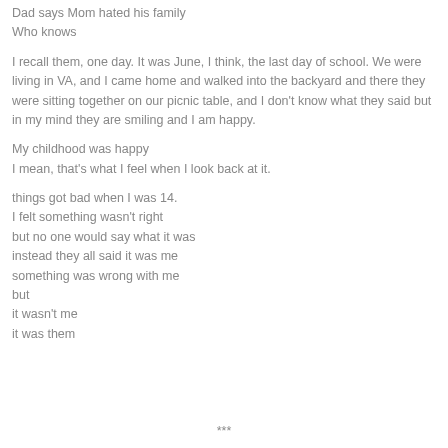Dad says Mom hated his family
Who knows
I recall them, one day. It was June, I think, the last day of school. We were living in VA, and I came home and walked into the backyard and there they were sitting together on our picnic table, and I don't know what they said but in my mind they are smiling and I am happy.
My childhood was happy
I mean, that's what I feel when I look back at it.
things got bad when I was 14.
I felt something wasn't right
but no one would say what it was
instead they all said it was me
something was wrong with me
but
it wasn't me
it was them
***